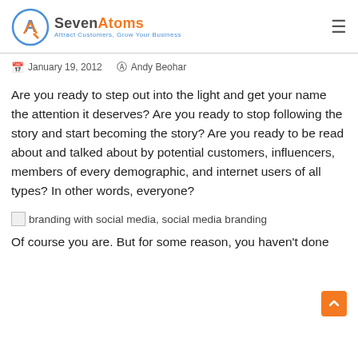SevenAtoms — Attract Customers, Grow Your Business
January 19, 2012   Andy Beohar
Are you ready to step out into the light and get your name the attention it deserves? Are you ready to stop following the story and start becoming the story? Are you ready to be read about and talked about by potential customers, influencers, members of every demographic, and internet users of all types? In other words, everyone?
[Figure (other): Broken image placeholder for: branding with social media, social media branding]
Of course you are. But for some reason, you haven't done